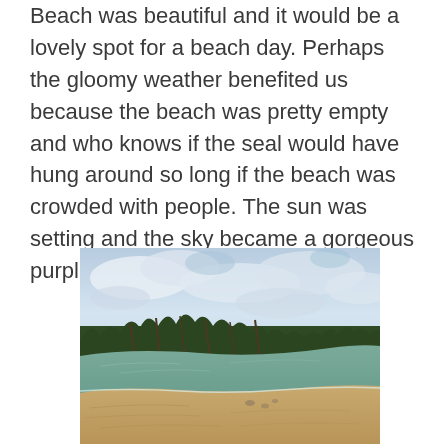Beach was beautiful and it would be a lovely spot for a beach day. Perhaps the gloomy weather benefited us because the beach was pretty empty and who knows if the seal would have hung around so long if the beach was crowded with people. The sun was setting and the sky became a gorgeous purple.
[Figure (photo): A beach scene with calm turquoise-green water, sandy shore, palm trees along the treeline in the background, and a cloudy sky with some blue patches.]